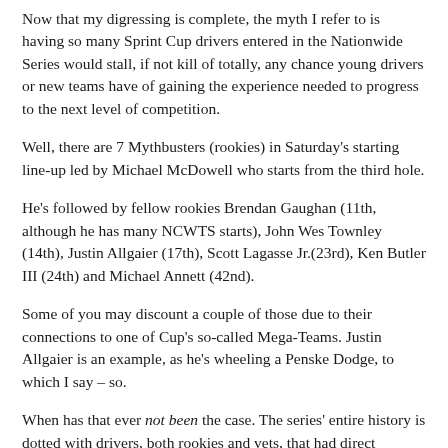Now that my digressing is complete, the myth I refer to is having so many Sprint Cup drivers entered in the Nationwide Series would stall, if not kill of totally, any chance young drivers or new teams have of gaining the experience needed to progress to the next level of competition.
Well, there are 7 Mythbusters (rookies) in Saturday's starting line-up led by Michael McDowell who starts from the third hole.
He's followed by fellow rookies Brendan Gaughan (11th, although he has many NCWTS starts), John Wes Townley (14th), Justin Allgaier (17th), Scott Lagasse Jr.(23rd), Ken Butler III (24th) and Michael Annett (42nd).
Some of you may discount a couple of those due to their connections to one of Cup's so-called Mega-Teams. Justin Allgaier is an example, as he's wheeling a Penske Dodge, to which I say – so.
When has that ever not been the case. The series' entire history is dotted with drivers, both rookies and vets, that had direct financial ties to large Cup teams or some other form of support from them. The series isn't dead yet from their presence and I don't see it going